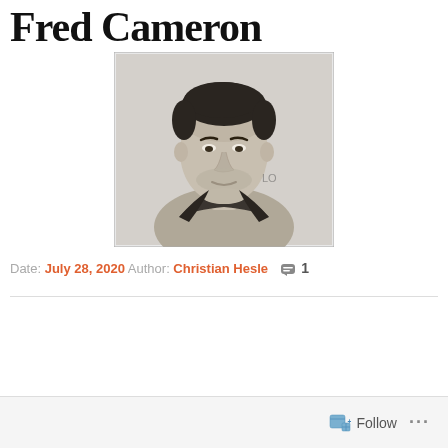Fred Cameron
[Figure (photo): Black and white portrait photograph of Fred Cameron, a man with dark hair wearing what appears to be a collared shirt or jacket]
Date: July 28, 2020  Author: Christian Hesle  1
Follow  ...